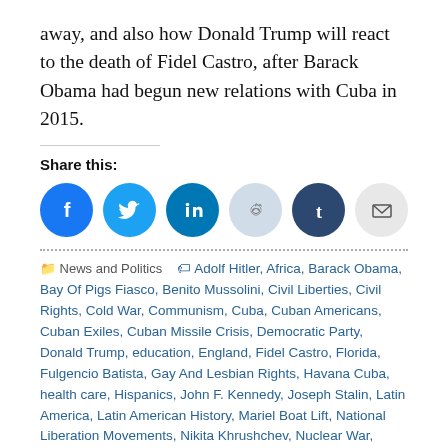away, and also how Donald Trump will react to the death of Fidel Castro, after Barack Obama had begun new relations with Cuba in 2015.
Share this:
[Figure (other): Social sharing icons: Facebook, Twitter, LinkedIn, Reddit, Tumblr, Email]
News and Politics   Adolf Hitler, Africa, Barack Obama, Bay Of Pigs Fiasco, Benito Mussolini, Civil Liberties, Civil Rights, Cold War, Communism, Cuba, Cuban Americans, Cuban Exiles, Cuban Missile Crisis, Democratic Party, Donald Trump, education, England, Fidel Castro, Florida, Fulgencio Batista, Gay And Lesbian Rights, Havana Cuba, health care, Hispanics, John F. Kennedy, Joseph Stalin, Latin America, Latin American History, Mariel Boat Lift, National Liberation Movements, Nikita Khrushchev, Nuclear War, Queen Elizabeth II, Raul Castro, Republican Party, Soviet Union, US Cuban